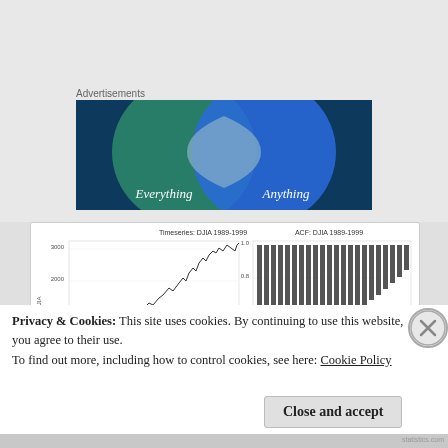Advertisements
[Figure (illustration): Advertisement banner showing two overlapping circles (Venn diagram style) with a green circle on the left and a blue circle on the right, overlapping in a lighter center. Text reads 'Everything' under the left circle and 'Anything' under the right circle, on a dark blue/teal background.]
[Figure (continuous-plot): Two financial charts side by side. Left: 'Timeseries: DJIA 1989-1999' showing an upward-trending line chart of DJIA values from roughly 1400 to 3000+ over the period. Right: 'ACF: DJIA 1989-1999' showing an autocorrelation function bar chart with tall bars decreasing from left to right.]
Privacy & Cookies: This site uses cookies. By continuing to use this website, you agree to their use.
To find out more, including how to control cookies, see here: Cookie Policy
Close and accept